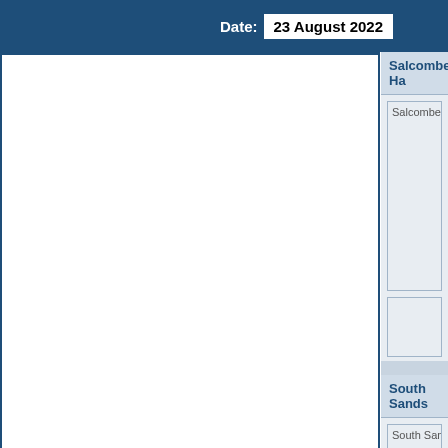Date: 23 August 2022
Salcombe Ha
[Figure (photo): Salcombe Harbour photo placeholder (broken image)]
[Figure (photo): Small image placeholder below harbour photo]
South Sands
[Figure (photo): South Sands Beach photo placeholder (broken image)]